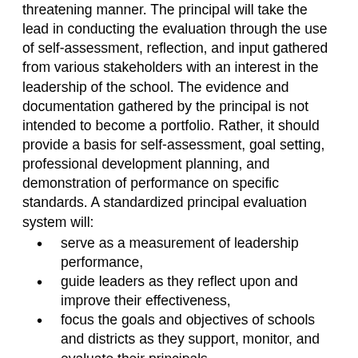threatening manner. The principal will take the lead in conducting the evaluation through the use of self-assessment, reflection, and input gathered from various stakeholders with an interest in the leadership of the school. The evidence and documentation gathered by the principal is not intended to become a portfolio. Rather, it should provide a basis for self-assessment, goal setting, professional development planning, and demonstration of performance on specific standards. A standardized principal evaluation system will:
serve as a measurement of leadership performance,
guide leaders as they reflect upon and improve their effectiveness,
focus the goals and objectives of schools and districts as they support, monitor, and evaluate their principals,
guide professional development for principals,
serve as a tool in developing coaching and mentoring programs for principals, and
inform higher education programs in